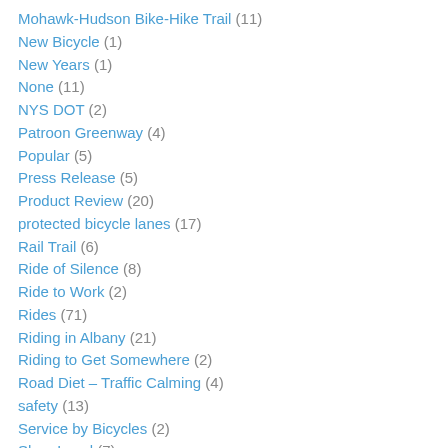Mohawk-Hudson Bike-Hike Trail (11)
New Bicycle (1)
New Years (1)
None (11)
NYS DOT (2)
Patroon Greenway (4)
Popular (5)
Press Release (5)
Product Review (20)
protected bicycle lanes (17)
Rail Trail (6)
Ride of Silence (8)
Ride to Work (2)
Rides (71)
Riding in Albany (21)
Riding to Get Somewhere (2)
Road Diet – Traffic Calming (4)
safety (13)
Service by Bicycles (2)
Shop Local (7)